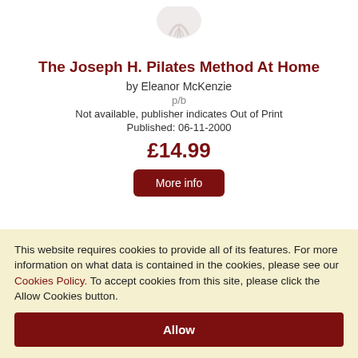[Figure (logo): Faded book/publisher logo icon at the top center of the page]
The Joseph H. Pilates Method At Home
by Eleanor McKenzie
p/b
Not available, publisher indicates Out of Print
Published: 06-11-2000
£14.99
More info
This website requires cookies to provide all of its features. For more information on what data is contained in the cookies, please see our Cookies Policy. To accept cookies from this site, please click the Allow Cookies button.
Allow